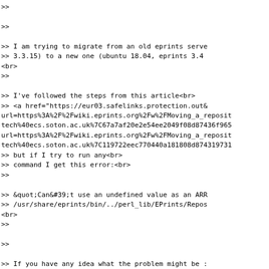&gt;&gt;<br>
&gt;&gt;<br>
&gt;&gt; I am trying to migrate from an old eprints serve
&gt;&gt; 3.3.15) to a new one (ubuntu 18.04, eprints 3.4
<br>
&gt;&gt;<br>
&gt;&gt; I&#39;ve followed the steps from this article<br>
&gt;&gt; <a href="https://eur03.safelinks.protection.out
url=https%3A%2F%2Fwiki.eprints.org%2Fw%2FMoving_a_reposit
tech%40ecs.soton.ac.uk%7C67a7af20e2e54ee2049f08d87436f965
url=https%3A%2F%2Fwiki.eprints.org%2Fw%2FMoving_a_reposit
tech%40ecs.soton.ac.uk%7C119722eec770440a181808d87431973
&gt;&gt; but if I try to run any<br>
&gt;&gt; command I get this error:<br>
&gt;&gt;<br>
&gt;&gt; &quot;Can&#39;t use an undefined value as an ARR
&gt;&gt; /usr/share/eprints/bin/../perl_lib/EPrints/Repos
<br>
&gt;&gt;<br>
&gt;&gt;<br>
&gt;&gt; If you have any idea what the problem might be :
<br>
&gt;&gt;<br>
&gt;&gt; Thank you.<br>
&gt;&gt;<br>
&gt;&gt; *** Options: <br>
&gt;&gt; <a href="http://mailman.ecs.soton.ac.uk/mailman
tech" rel="noreferrer" target="_blank">http://mailman.ecs
tech</a><br>
&gt;&gt; *** Archive: <br>